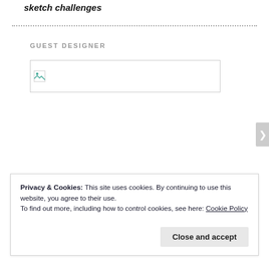sketch challenges
GUEST DESIGNER
[Figure (photo): Broken/missing image placeholder within a rectangular border]
Privacy & Cookies: This site uses cookies. By continuing to use this website, you agree to their use.
To find out more, including how to control cookies, see here: Cookie Policy
Close and accept